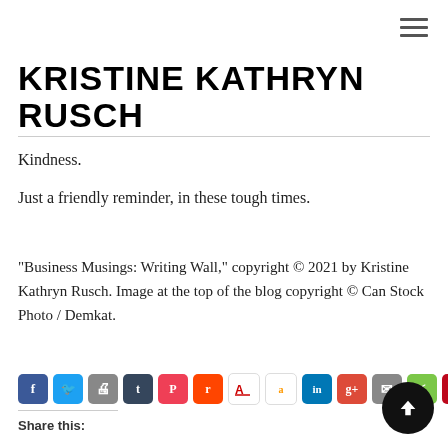KRISTINE KATHRYN RUSCH
Kindness.
Just a friendly reminder, in these tough times.
"Business Musings: Writing Wall," copyright © 2021 by Kristine Kathryn Rusch. Image at the top of the blog copyright © Can Stock Photo / Demkat.
Share this: